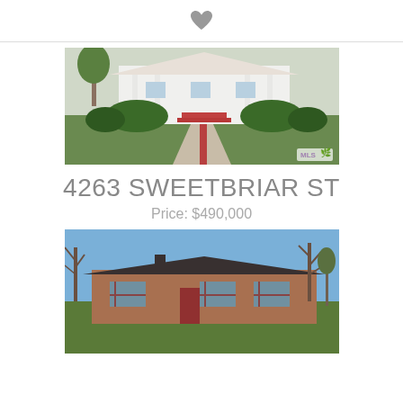[Figure (photo): Heart/favorite icon at top center of page]
[Figure (photo): Exterior photo of white house with brick driveway, green lawn and landscaping, MLS logo watermark in lower right]
4263 SWEETBRIAR ST
Price: $490,000
[Figure (photo): Exterior photo of brick ranch house with blue sky and bare trees, green lawn in foreground]